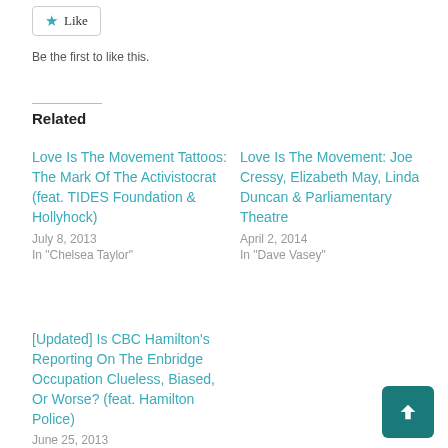[Figure (other): Like button with star icon]
Be the first to like this.
Related
Love Is The Movement Tattoos: The Mark Of The Activistocrat (feat. TIDES Foundation & Hollyhock)
July 8, 2013
In "Chelsea Taylor"
Love Is The Movement: Joe Cressy, Elizabeth May, Linda Duncan & Parliamentary Theatre
April 2, 2014
In "Dave Vasey"
[Updated] Is CBC Hamilton's Reporting On The Enbridge Occupation Clueless, Biased, Or Worse? (feat. Hamilton Police)
June 25, 2013
In "Alex Hundert"